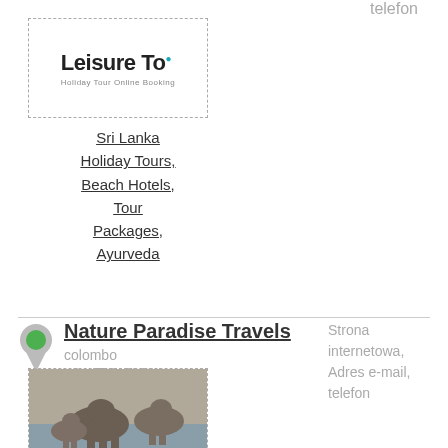telefon
[Figure (logo): Leisure Tour logo with 'Holiday Tour Online Booking' tagline]
Sri Lanka Holiday Tours, Beach Hotels, Tour Packages, Ayurveda
Nature Paradise Travels
colombo
+94-773429294
Strona internetowa, Adres e-mail, telefon
[Figure (photo): Photo of elephants at a water body]
Sri Lanka Discover Tour